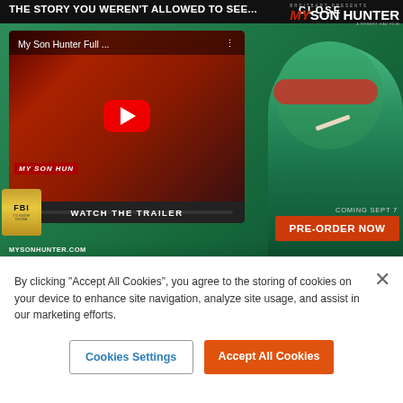[Figure (screenshot): Advertisement for 'My Son Hunter' film by Breitbart, showing a YouTube video thumbnail with play button, text 'THE STORY YOU WEREN'T ALLOWED TO SEE...', 'WATCH THE TRAILER', 'PRE-ORDER NOW', 'COMING SEPT 7', and MYSONHUNTER.COM website URL. Green-tinted background with a person wearing red sunglasses.]
In a breach of journalistic ethics, Julia Wong from the far-left British newspaper Guardian
By clicking “Accept All Cookies”, you agree to the storing of cookies on your device to enhance site navigation, analyze site usage, and assist in our marketing efforts.
Cookies Settings
Accept All Cookies